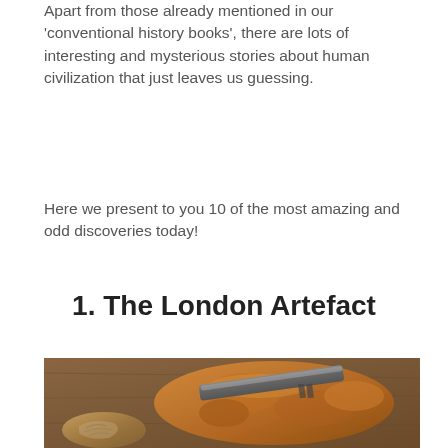Apart from those already mentioned in our 'conventional history books', there are lots of interesting and mysterious stories about human civilization that just leaves us guessing.
Here we present to you 10 of the most amazing and odd discoveries today!
1. The London Artefact
[Figure (photo): Photo of the London Artefact — a metallic rod or hammer-like tool embedded in an orange-brown rocky/mineral concretion, with a smaller fossil or bone fragment visible in the lower left, all resting on a wooden surface.]